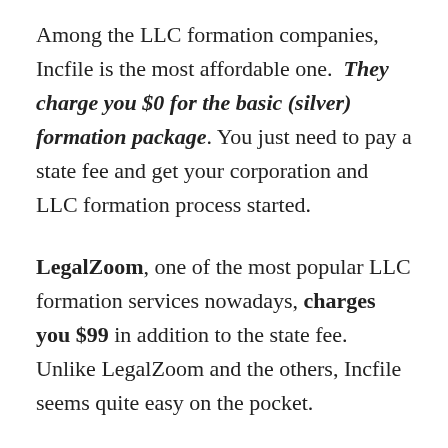Among the LLC formation companies, Incfile is the most affordable one. They charge you $0 for the basic (silver) formation package. You just need to pay a state fee and get your corporation and LLC formation process started.
LegalZoom, one of the most popular LLC formation services nowadays, charges you $99 in addition to the state fee. Unlike LegalZoom and the others, Incfile seems quite easy on the pocket.